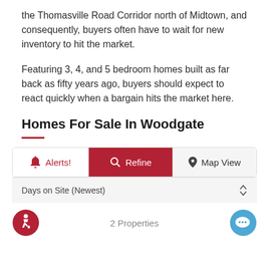the Thomasville Road Corridor north of Midtown, and consequently, buyers often have to wait for new inventory to hit the market.
Featuring 3, 4, and 5 bedroom homes built as far back as fifty years ago, buyers should expect to react quickly when a bargain hits the market here.
Homes For Sale In Woodgate
[Figure (screenshot): Toolbar with three buttons: Alerts! (outline), Refine (red filled), Map View (light gray), followed by a sort dropdown showing Days on Site (Newest), and a bottom bar with accessibility icon, 2 Properties text, and chat icon.]